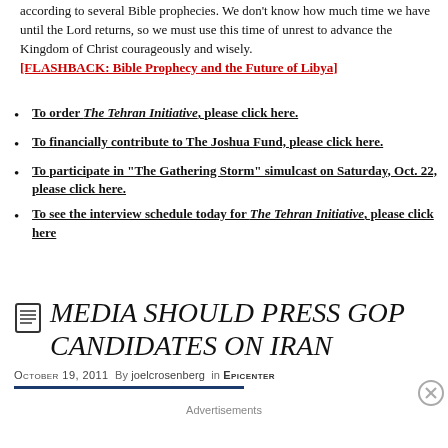according to several Bible prophecies. We don't know how much time we have until the Lord returns, so we must use this time of unrest to advance the Kingdom of Christ courageously and wisely.
[FLASHBACK: Bible Prophecy and the Future of Libya]
To order The Tehran Initiative, please click here.
To financially contribute to The Joshua Fund, please click here.
To participate in "The Gathering Storm" simulcast on Saturday, Oct. 22, please click here.
To see the interview schedule today for The Tehran Initiative, please click here
MEDIA SHOULD PRESS GOP CANDIDATES ON IRAN
October 19, 2011  By  joelcrosenberg  in  Epicenter